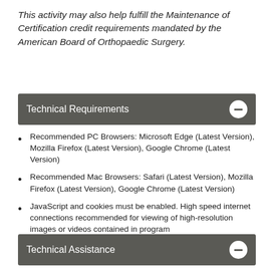This activity may also help fulfill the Maintenance of Certification credit requirements mandated by the American Board of Orthopaedic Surgery.
Technical Requirements
Recommended PC Browsers: Microsoft Edge (Latest Version), Mozilla Firefox (Latest Version), Google Chrome (Latest Version)
Recommended Mac Browsers: Safari (Latest Version), Mozilla Firefox (Latest Version), Google Chrome (Latest Version)
JavaScript and cookies must be enabled. High speed internet connections recommended for viewing of high-resolution images or videos contained in program
Technical Assistance